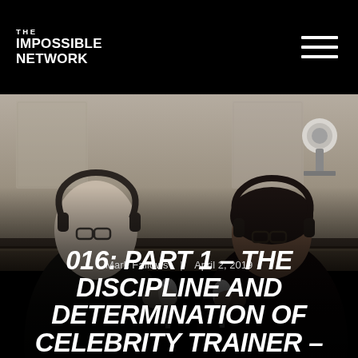THE IMPOSSIBLE NETWORK
[Figure (photo): Two people wearing headphones sitting across from each other in a podcast recording studio, each holding a microphone. The left person is a white male wearing glasses and a dark t-shirt. The right person is a person of color wearing glasses and a dark hoodie. A studio lamp is visible in the upper right. The lower portion of the image is overlaid with a dark semi-transparent panel.]
Mark Fallows | April 2, 2019
016: PART 1 – THE DISCIPLINE AND DETERMINATION OF CELEBRITY TRAINER –